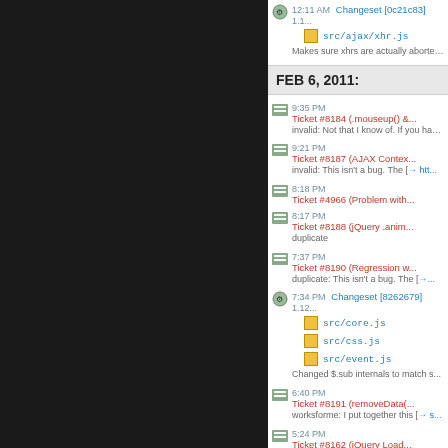[Figure (screenshot): Dark left panel of a web application sidebar]
12:11 AM Changeset [0c21c83] 1.1...
src/ajax/xhr.js
Makes sure xhrs are actually aborted...
FEB 6, 2011:
9:35 PM Ticket #8184 (.mouseup() &...
invalid: Not that I know of. If you hap...
9:21 PM Ticket #8187 (AJAX Contex...
invalid: This isn't a bug. The [→ htt...
8:18 PM Ticket #4966 (Problem with...
8:17 PM Ticket #8188 (jQuery .anim...
duplicate
7:37 PM Ticket #8190 (Regression w...
duplicate: This isn't a bug. The [→...
7:34 PM Changeset [8262679] 1.12...
src/core.js
src/css.js
src/event.js
Changed $.sub internals to match s...
6:40 PM Ticket #8191 (removeData(...
worksforme: I put together this [→ s...
5:24 PM Ticket #8162 (jQuery Load...
fixed: I've gone in and removed tha...